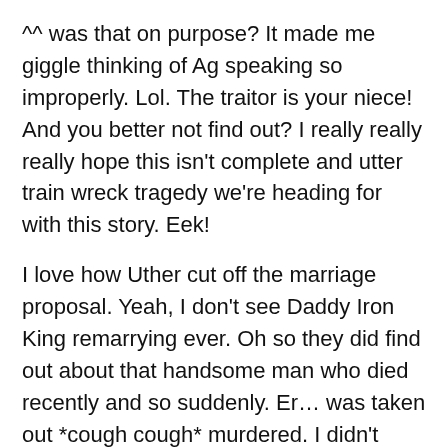^^ was that on purpose? It made me giggle thinking of Ag speaking so improperly. Lol. The traitor is your niece! And you better not find out? I really really really hope this isn't complete and utter train wreck tragedy we're heading for with this story. Eek!
I love how Uther cut off the marriage proposal. Yeah, I don't see Daddy Iron King remarrying ever. Oh so they did find out about that handsome man who died recently and so suddenly. Er… was taken out *cough cough* murdered. I didn't expect that truth to be revealed so quickly (news of his death, that is).
Is it really the priest's job to know these kinds of things? Changes in the guard, the wind, deaths of other royals, etc.? I mean, I've known for a long while that Ag has made it his business to know things, but